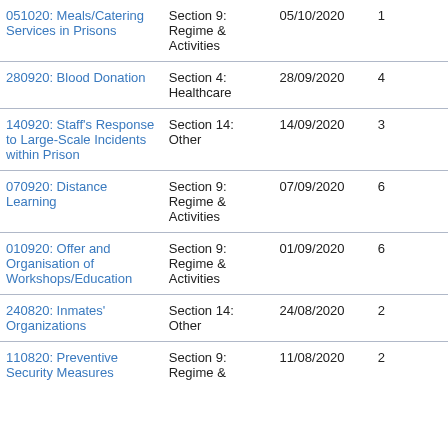| Title | Section | Date | Count |  |
| --- | --- | --- | --- | --- |
| 051020: Meals/Catering Services in Prisons | Section 9: Regime & Activities | 05/10/2020 | 1 |  |
| 280920: Blood Donation | Section 4: Healthcare | 28/09/2020 | 4 |  |
| 140920: Staff's Response to Large-Scale Incidents within Prison | Section 14: Other | 14/09/2020 | 3 |  |
| 070920: Distance Learning | Section 9: Regime & Activities | 07/09/2020 | 6 |  |
| 010920: Offer and Organisation of Workshops/Education | Section 9: Regime & Activities | 01/09/2020 | 6 |  |
| 240820: Inmates' Organizations | Section 14: Other | 24/08/2020 | 2 |  |
| 110820: Preventive Security Measures | Section 9: Regime & | 11/08/2020 | 2 |  |